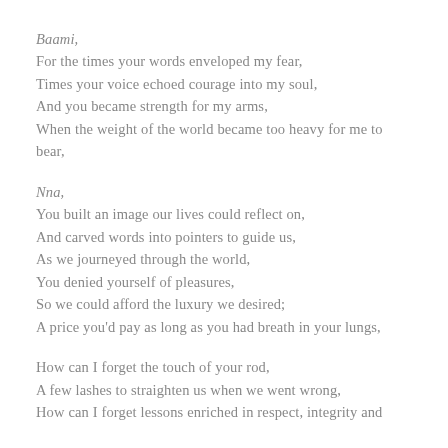Baami,
For the times your words enveloped my fear,
Times your voice echoed courage into my soul,
And you became strength for my arms,
When the weight of the world became too heavy for me to bear,
Nna,
You built an image our lives could reflect on,
And carved words into pointers to guide us,
As we journeyed through the world,
You denied yourself of pleasures,
So we could afford the luxury we desired;
A price you'd pay as long as you had breath in your lungs,
How can I forget the touch of your rod,
A few lashes to straighten us when we went wrong,
How can I forget lessons enriched in respect, integrity and